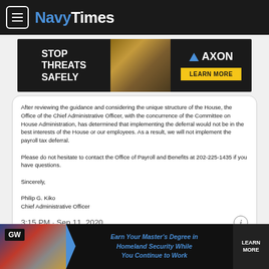NavyTimes
[Figure (infographic): AXON advertisement banner: STOP THREATS SAFELY with photo of hands and AXON LEARN MORE button]
After reviewing the guidance and considering the unique structure of the House, the Office of the Chief Administrative Officer, with the concurrence of the Committee on House Administration, has determined that implementing the deferral would not be in the best interests of the House or our employees. As a result, we will not implement the payroll tax deferral.

Please do not hesitate to contact the Office of Payroll and Benefits at 202-225-1435 if you have questions.

Sincerely,

Philip G. Kiko
Chief Administrative Officer
3:15 PM · Sep 11, 2020
66  Reply  Copy link
Read 7 replies
[Figure (infographic): GW advertisement: Earn Your Master's Degree in Homeland Security While You Continue to Work - LEARN MORE]